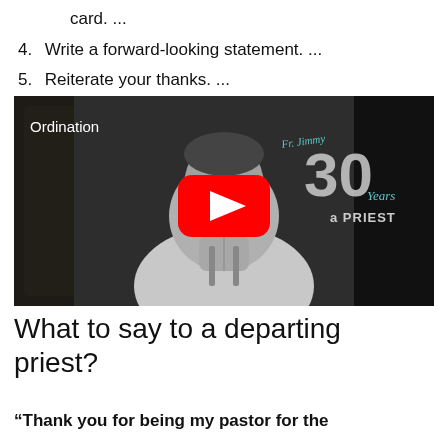card. ...
4. Write a forward-looking statement. ...
5. Reiterate your thanks. ...
6. End with your regards.
[Figure (photo): Black and white photo of a priest with hands clasped in prayer, overlaid with YouTube play button, 'Ordination' text label, and '30 Years a Priest' anniversary logo]
What to say to a departing priest?
“Thank you for being my pastor for the